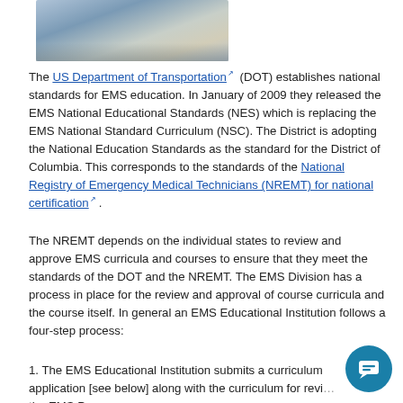[Figure (photo): Close-up photo of book pages, slightly blurred, light blue and cream tones.]
The US Department of Transportation (DOT) establishes national standards for EMS education. In January of 2009 they released the EMS National Educational Standards (NES) which is replacing the EMS National Standard Curriculum (NSC). The District is adopting the National Education Standards as the standard for the District of Columbia. This corresponds to the standards of the National Registry of Emergency Medical Technicians (NREMT) for national certification.
The NREMT depends on the individual states to review and approve EMS curricula and courses to ensure that they meet the standards of the DOT and the NREMT. The EMS Division has a process in place for the review and approval of course curricula and the course itself. In general an EMS Educational Institution follows a four-step process:
1. The EMS Educational Institution submits a curriculum application [see below] along with the curriculum for review to the EMS Prog...